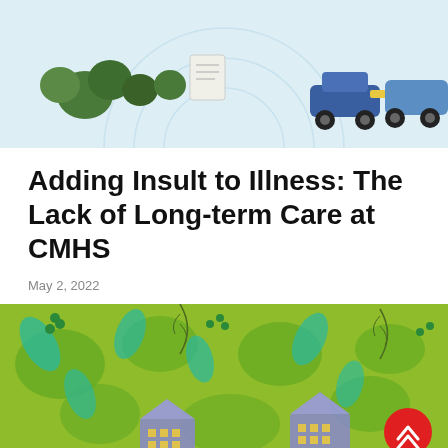[Figure (illustration): Partial illustration showing vehicles and green trees on a light blue background, cropped at top]
Adding Insult to Illness: The Lack of Long-term Care at CMHS
May 2, 2022
[Figure (illustration): Illustration with green tropical foliage pattern on lime green background with blue geometric building shapes and yellow lit windows, plus a red circular scroll-up button]